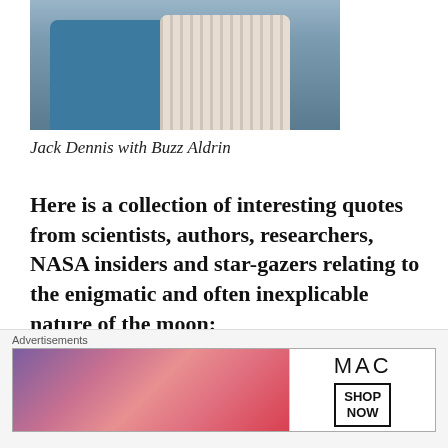[Figure (photo): Photo of two people, Jack Dennis with Buzz Aldrin. Left person wearing blue shirt, right person wearing striped shirt.]
Jack Dennis with Buzz Aldrin
Here is a collection of interesting quotes from scientists, authors, researchers, NASA insiders and star-gazers relating to the enigmatic and often inexplicable nature of the moon:
Isaac Asimov,
[Figure (photo): Advertisement banner for MAC cosmetics showing lipsticks and a SHOP NOW button.]